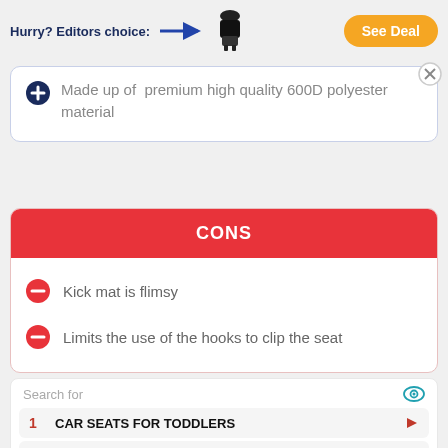Hurry? Editors choice: See Deal
Made up of premium high quality 600D polyester material
CONS
Kick mat is flimsy
Limits the use of the hooks to clip the seat
Search for
1 CAR SEATS FOR TODDLERS
2 CHILD CAR SEATS
Ad | Business Focus